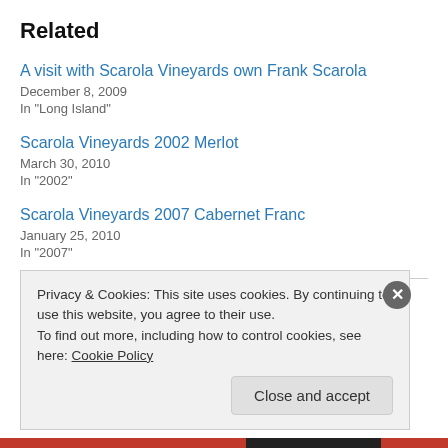Related
A visit with Scarola Vineyards own Frank Scarola
December 8, 2009
In "Long Island"
Scarola Vineyards 2002 Merlot
March 30, 2010
In "2002"
Scarola Vineyards 2007 Cabernet Franc
January 25, 2010
In "2007"
Privacy & Cookies: This site uses cookies. By continuing to use this website, you agree to their use.
To find out more, including how to control cookies, see here: Cookie Policy